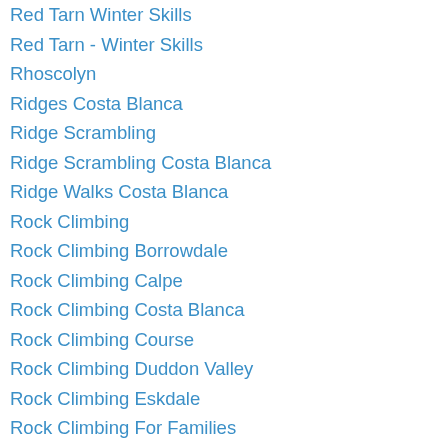Red Tarn Winter Skills
Red Tarn - Winter Skills
Rhoscolyn
Ridges Costa Blanca
Ridge Scrambling
Ridge Scrambling Costa Blanca
Ridge Walks Costa Blanca
Rock Climbing
Rock Climbing Borrowdale
Rock Climbing Calpe
Rock Climbing Costa Blanca
Rock Climbing Course
Rock Climbing Duddon Valley
Rock Climbing Eskdale
Rock Climbing For Families
Rock Climbing In Borrowdale
Rock Climbing In Langdale
Rock Climbing Lake District
Rock Climbing Langdale
Rock Climbing Refresher Course
Rock Climbing Scafell